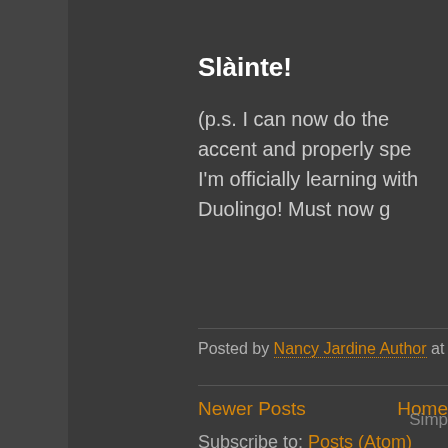Slàinte!
(p.s. I can now do the accent and properly spe I'm officially learning with Duolingo! Must now g
Posted by Nancy Jardine Author at 18:02   No comment
Newer Posts
Home
Subscribe to: Posts (Atom)
Simp